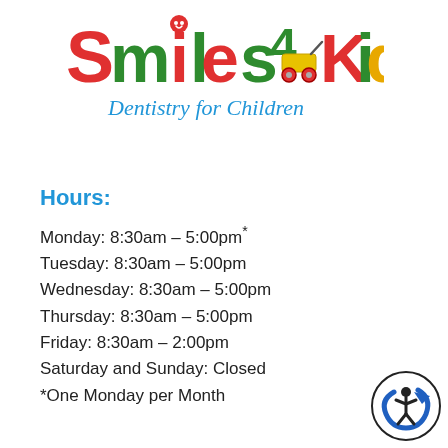[Figure (logo): Smiles 4 Kids Dentistry for Children logo with colorful text and toy wagon illustration]
Hours:
Monday: 8:30am – 5:00pm*
Tuesday: 8:30am – 5:00pm
Wednesday: 8:30am – 5:00pm
Thursday: 8:30am – 5:00pm
Friday: 8:30am – 2:00pm
Saturday and Sunday: Closed
*One Monday per Month
[Figure (logo): Accessibility icon badge in bottom right corner]